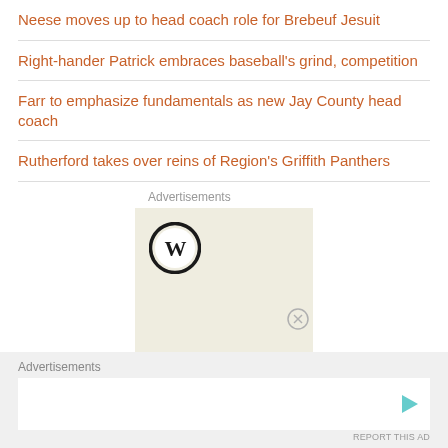Neese moves up to head coach role for Brebeuf Jesuit
Right-hander Patrick embraces baseball's grind, competition
Farr to emphasize fundamentals as new Jay County head coach
Rutherford takes over reins of Region's Griffith Panthers
Advertisements
[Figure (logo): WordPress logo inside an advertisement box with beige background]
Advertisements
[Figure (other): Bottom advertisement bar with a play button icon]
REPORT THIS AD